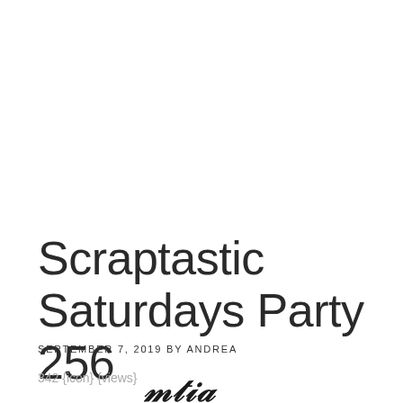Scraptastic Saturdays Party 256
SEPTEMBER 7, 2019 BY ANDREA
342 {icon} {views}